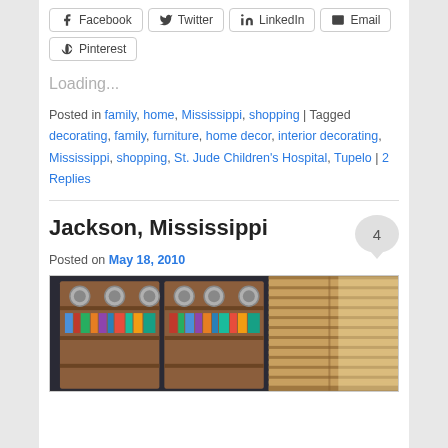Facebook  Twitter  LinkedIn  Email  Pinterest
Loading...
Posted in family, home, Mississippi, shopping | Tagged decorating, family, furniture, home decor, interior decorating, Mississippi, shopping, St. Jude Children's Hospital, Tupelo | 2 Replies
Jackson, Mississippi
Posted on May 18, 2010
[Figure (photo): Interior photo showing wooden bookshelves filled with books and decorative plates on the left, and wooden horizontal window blinds on the right with light streaming through.]